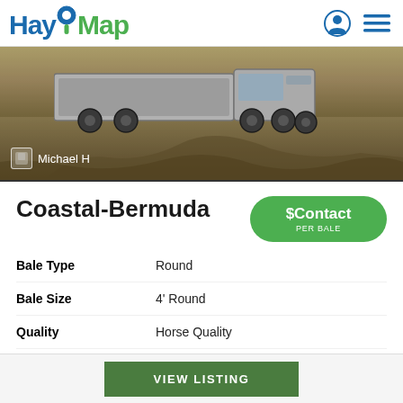HayMap
[Figure (photo): A truck on a dry hay field with a user avatar and name 'Michael H' overlaid at bottom left]
Coastal-Bermuda
$Contact PER BALE
Bale Type     Round
Bale Size     4' Round
Quality     Horse Quality
Hay For Sale In Texas
VIEW LISTING